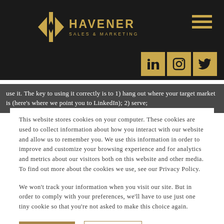[Figure (logo): Havener Sales & Marketing logo with gold diamond/arrow icon on dark background header]
use it. The key to using it correctly is to 1) hang out where your target market is (here's where we point you to LinkedIn); 2) serve;
This website stores cookies on your computer. These cookies are used to collect information about how you interact with our website and allow us to remember you. We use this information in order to improve and customize your browsing experience and for analytics and metrics about our visitors both on this website and other media. To find out more about the cookies we use, see our Privacy Policy.

We won't track your information when you visit our site. But in order to comply with your preferences, we'll have to use just one tiny cookie so that you're not asked to make this choice again.